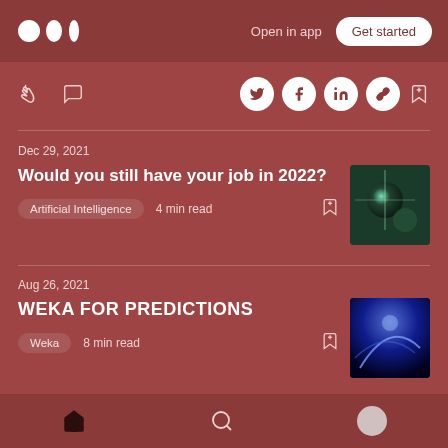Medium logo | Open in app | Get started
[Figure (screenshot): Action bar with clap, comment, share icons (Twitter, Facebook, LinkedIn, link) and bookmark icon]
Dec 29, 2021
Would you still have your job in 2022?
Artificial Intelligence  4 min read
Aug 26, 2021
WEKA FOR PREDICTIONS
Weka  8 min read
Home | Search | Profile